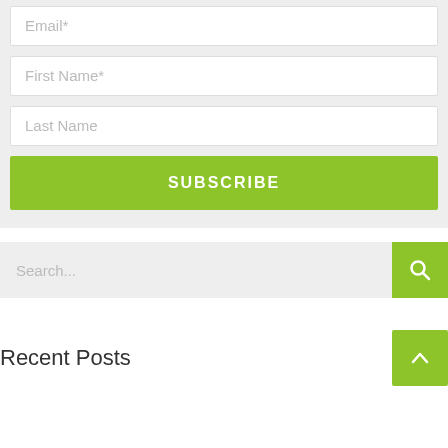Email*
First Name*
Last Name
SUBSCRIBE
Search...
Recent Posts